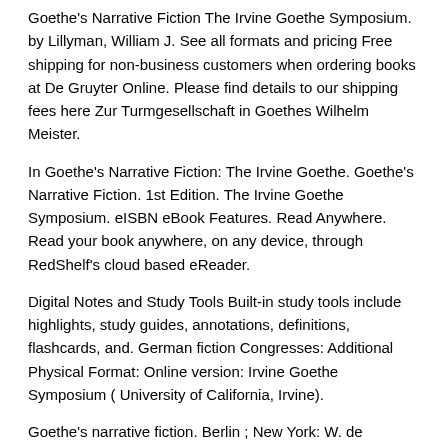Goethe's Narrative Fiction The Irvine Goethe Symposium. by Lillyman, William J. See all formats and pricing Free shipping for non-business customers when ordering books at De Gruyter Online. Please find details to our shipping fees here Zur Turmgesellschaft in Goethes Wilhelm Meister.
In Goethe's Narrative Fiction: The Irvine Goethe. Goethe's Narrative Fiction. 1st Edition. The Irvine Goethe Symposium. eISBN eBook Features. Read Anywhere. Read your book anywhere, on any device, through RedShelf's cloud based eReader.
Digital Notes and Study Tools Built-in study tools include highlights, study guides, annotations, definitions, flashcards, and. German fiction Congresses: Additional Physical Format: Online version: Irvine Goethe Symposium ( University of California, Irvine).
Goethe's narrative fiction. Berlin ; New York: W. de Gruyter, (OCoLC) Named Person: Johann Wolfgang von Goethe; Johann Wolfgang von Goethe; Johann Wolfgang von Goethe; Johann Wolfgang von Goethe.
/ General Fiction Johhan Wolfgang von Goethe's Faust, written